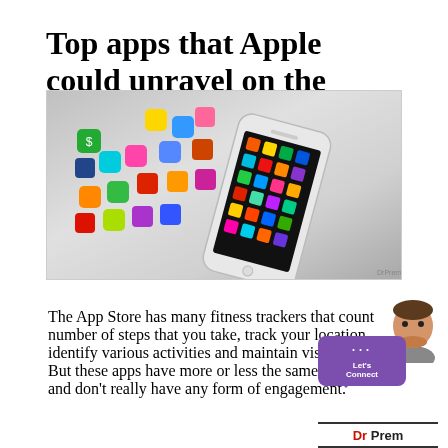Top apps that Apple could unravel on the iPhone 6
[Figure (photo): A stylized 3D illustration of a smartphone with colorful app icons floating out from its screen, set against a grey gradient background. Watermark reads DrPrem.com.]
The App Store has many fitness trackers that count number of steps that you take, track your location, identify various activities and maintain visual history. But these apps have more or less the same features and don't really have any form of engagement.